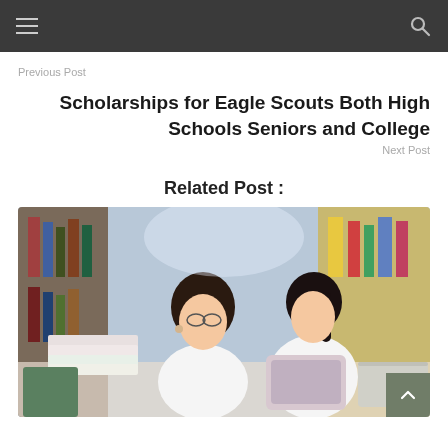Previous Post
Scholarships for Eagle Scouts Both High Schools Seniors and College
Next Post
Related Post :
[Figure (photo): Two young women studying together at a library table with books, a tablet, and a laptop]